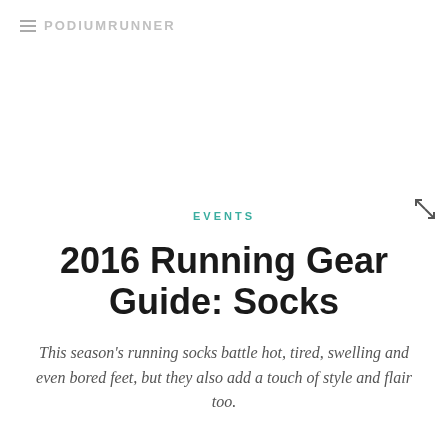PodiumRunner
EVENTS
2016 Running Gear Guide: Socks
This season's running socks battle hot, tired, swelling and even bored feet, but they also add a touch of style and flair too.